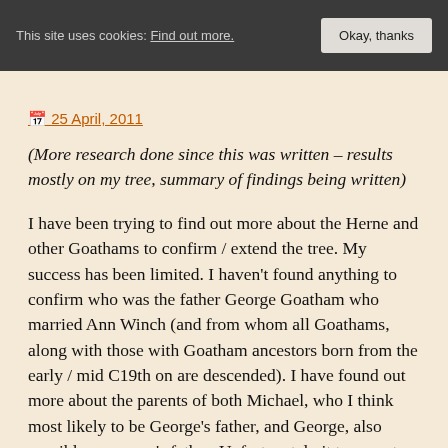This site uses cookies: Find out more. Okay, thanks
25 April, 2011
(More research done since this was written – results mostly on my tree, summary of findings being written)
I have been trying to find out more about the Herne and other Goathams to confirm / extend the tree. My success has been limited. I haven't found anything to confirm who was the father George Goatham who married Ann Winch (and from whom all Goathams, along with those with Goatham ancestors born from the early / mid C19th on are descended). I have found out more about the parents of both Michael, who I think most likely to be George's father, and George, also possible as george's father. Unfortunately it turns out they weren't brothers so more of the tree is different depending on which one was the father. (Since I wrote this: have found them to be second cousins so can extend the tree further back)